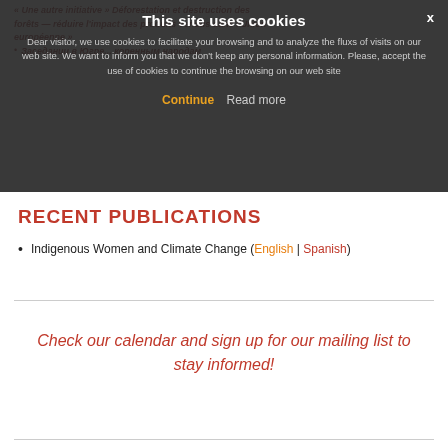[Figure (screenshot): Cookie consent overlay modal on a dark semi-transparent background. Contains title 'This site uses cookies', body text about cookies and privacy, and two action buttons: 'Continue' (orange) and 'Read more' (grey). An X close button is in the top right.]
RECENT PUBLICATIONS
Indigenous Women and Climate Change (English | Spanish)
Check our calendar and sign up for our mailing list to stay informed!